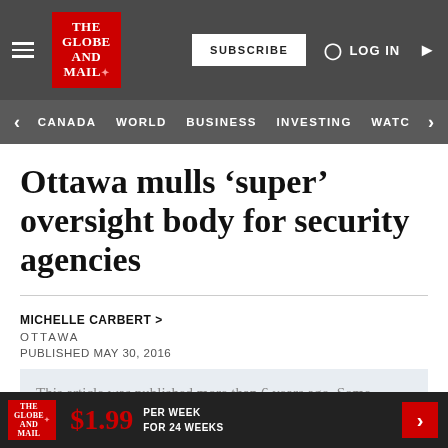[Figure (screenshot): The Globe and Mail website header with logo, Subscribe button, Log In link, hamburger menu, and navigation categories: Canada, World, Business, Investing, Watch]
Ottawa mulls ‘super’ oversight body for security agencies
MICHELLE CARBERT >
OTTAWA
PUBLISHED MAY 30, 2016
This article was published more than 6 years ago. Some information may no longer be current.
[Figure (infographic): Bottom advertisement bar: The Globe and Mail logo, $1.99 per week for 24 weeks promotion with red arrow]